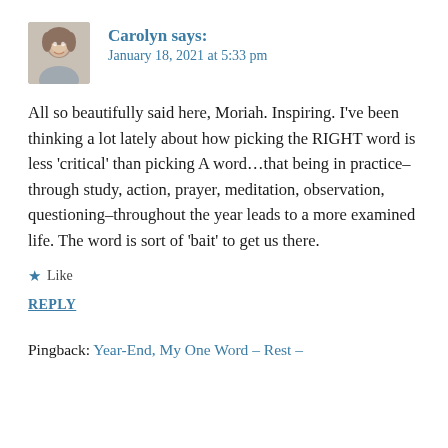[Figure (photo): Small avatar photo of a woman, used as commenter profile picture]
Carolyn says:
January 18, 2021 at 5:33 pm
All so beautifully said here, Moriah. Inspiring. I've been thinking a lot lately about how picking the RIGHT word is less ‘critical’ than picking A word…that being in practice–through study, action, prayer, meditation, observation, questioning–throughout the year leads to a more examined life. The word is sort of ‘bait’ to get us there.
★ Like
REPLY
Pingback: Year-End, My One Word – Rest –